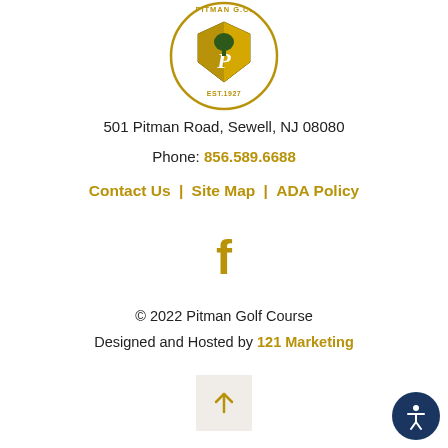[Figure (logo): Pitman G.C. golf club circular logo with shield, tree, and EST.1927 text]
501 Pitman Road, Sewell, NJ 08080
Phone: 856.589.6688
Contact Us | Site Map | ADA Policy
[Figure (logo): Facebook icon in gold]
© 2022 Pitman Golf Course
Designed and Hosted by 121 Marketing
[Figure (other): Scroll to top button with upward arrow]
[Figure (other): Accessibility icon button - person in circle, dark blue background]